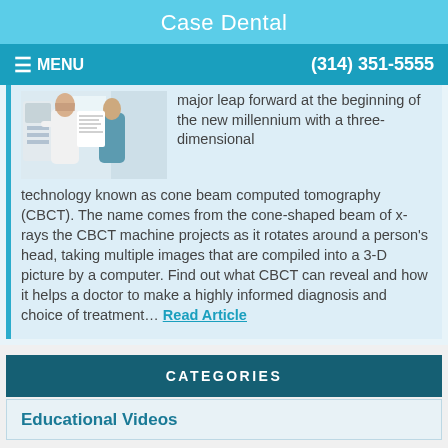Case Dental
≡ MENU    (314) 351-5555
[Figure (photo): Two dental professionals in white lab coats working in a clinical setting]
major leap forward at the beginning of the new millennium with a three-dimensional technology known as cone beam computed tomography (CBCT). The name comes from the cone-shaped beam of x-rays the CBCT machine projects as it rotates around a person's head, taking multiple images that are compiled into a 3-D picture by a computer. Find out what CBCT can reveal and how it helps a doctor to make a highly informed diagnosis and choice of treatment... Read Article
CATEGORIES
Educational Videos